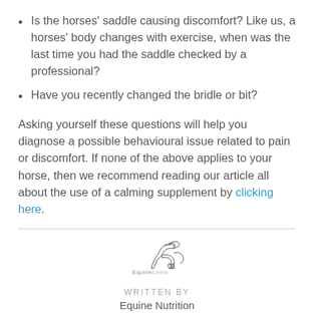Is the horses' saddle causing discomfort? Like us, a horses' body changes with exercise, when was the last time you had the saddle checked by a professional?
Have you recently changed the bridle or bit?
Asking yourself these questions will help you diagnose a possible behavioural issue related to pain or discomfort. If none of the above applies to your horse, then we recommend reading our article all about the use of a calming supplement by clicking here.
[Figure (logo): Equine Lintro logo — stylized horse silhouette with text]
WRITTEN BY
Equine Nutrition
Tweet